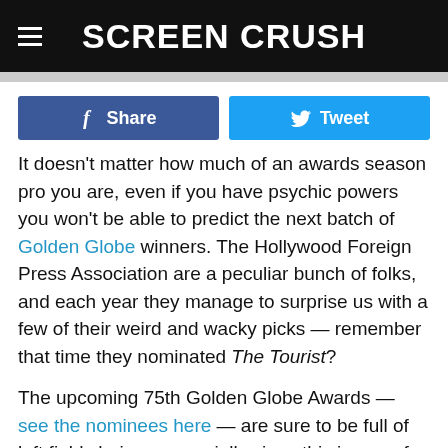SCREEN CRUSH
[Figure (other): Facebook Share button and Twitter Tweet button side by side]
It doesn't matter how much of an awards season pro you are, even if you have psychic powers you won't be able to predict the next batch of Golden Globe winners. The Hollywood Foreign Press Association are a peculiar bunch of folks, and each year they manage to surprise us with a few of their weird and wacky picks — remember that time they nominated The Tourist?
The upcoming 75th Golden Globe Awards — see the nominees here — are sure to be full of left field choices, especially since this is one of the more uncertain awards seasons of late. While last year's movie race was split by two films — Moonlight and La La Land — this season has a